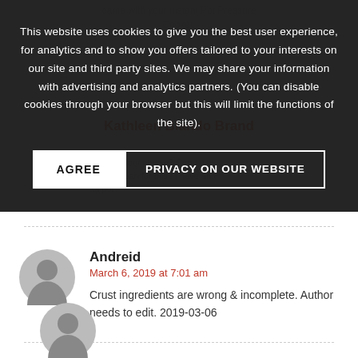came with your Instant Pot Pressure Cooker.
Kathleen Blando Brand
almond flour please? Can I use ng form pan for this? I have an 8 qt pot
This website uses cookies to give you the best user experience, for analytics and to show you offers tailored to your interests on our site and third party sites. We may share your information with advertising and analytics partners. (You can disable cookies through your browser but this will limit the functions of the site).
AGREE
PRIVACY ON OUR WEBSITE
Andreid
March 6, 2019 at 7:01 am
Crust ingredients are wrong & incomplete. Author needs to edit. 2019-03-06